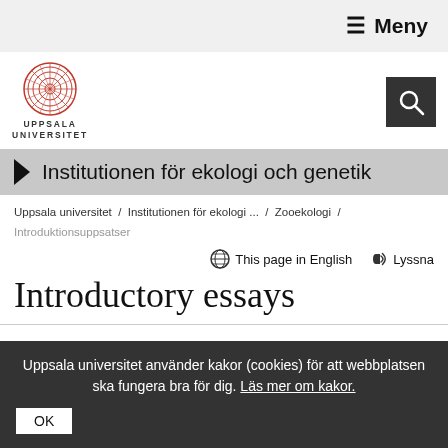≡ Meny
[Figure (logo): Uppsala Universitet circular red logo with text UPPSALA UNIVERSITET below]
[Figure (other): Search button (magnifying glass icon on dark background)]
Institutionen för ekologi och genetik
Uppsala universitet / Institutionen för ekologi ... / Zooekologi / Introduktionsuppsatser
This page in English   Lyssna
Introductory essays
Uppsala universitet använder kakor (cookies) för att webbplatsen ska fungera bra för dig. Läs mer om kakor.
OK